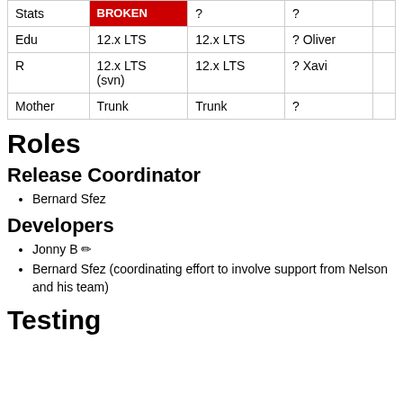|  |  |  |  |  |
| --- | --- | --- | --- | --- |
| Stats | BROKEN | ? | ? |  |
| Edu | 12.x LTS | 12.x LTS | ? Oliver |  |
| R | 12.x LTS (svn) | 12.x LTS | ? Xavi |  |
| Mother | Trunk | Trunk | ? |  |
Roles
Release Coordinator
Bernard Sfez
Developers
Jonny B ✏
Bernard Sfez (coordinating effort to involve support from Nelson and his team)
Testing